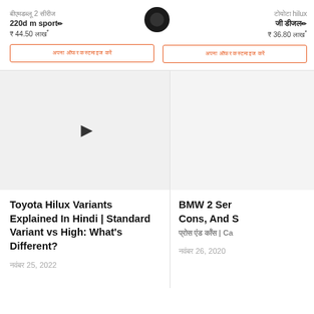बीएमडब्लू 2 सीरीज
220d m sport✏
₹ 44.50 लाख*
अपना ऑफर कस्टमाइज करें
[Figure (logo): Dark circular logo in center top]
टोयोटा hilux
जी डीजल✏
₹ 36.80 लाख*
अपना ऑफर कस्टमाइज करें
[Figure (screenshot): Video thumbnail with play button for Toyota Hilux article]
Toyota Hilux Variants Explained In Hindi | Standard Variant vs High: What's Different?
नवंबर 25, 2022
[Figure (photo): Article image for BMW 2 Series article (partially visible)]
BMW 2 Ser... Cons, And S... प्रोस एंड कॉंस | Ca...
नवंबर 26, 2020